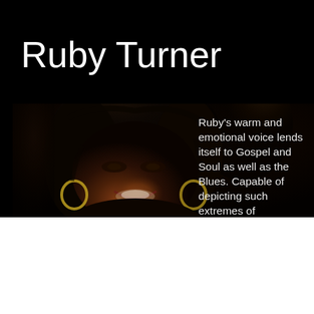Ruby Turner
[Figure (photo): Close-up photo of Ruby Turner, a woman with dark curly hair, smiling, wearing large hoop earrings, set against a dark background]
Ruby's warm and emotional voice lends itself to Gospel and Soul as well as the Blues. Capable of depicting such extremes of